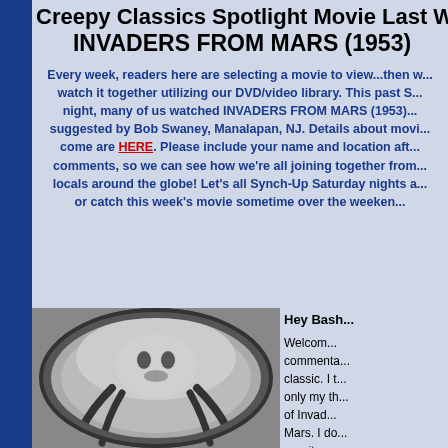Creepy Classics Spotlight Movie Last We... INVADERS FROM MARS (1953)
Every week, readers here are selecting a movie to view...then w... watch it together utilizing our DVD/video library. This past S... night, many of us watched INVADERS FROM MARS (1953)... suggested by Bob Swaney, Manalapan, NJ. Details about movi... come are HERE. Please include your name and location aft... comments, so we can see how we're all joining together from... locals around the globe! Let's all Synch-Up Saturday nights a... or catch this week's movie sometime over the weeken...
[Figure (photo): Black and white still from Invaders From Mars (1953) showing a large-headed Martian creature in a circular frame/dome]
Hey Bash... Welcom... commenta... classic. I t... only my th... of Invad... Mars. I do... saw it as a... later in life... a chance to... I always re... li...f...